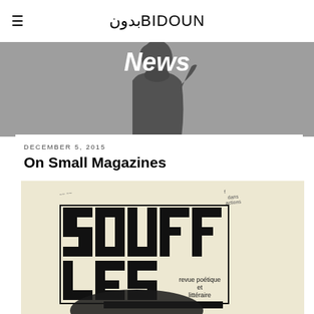≡ بدون BIDOUN
News
[Figure (photo): Silhouette of a person against a gray background, serving as banner image for the 'News' section of BIDOUN magazine website]
DECEMBER 5, 2015
On Small Magazines
[Figure (photo): Cover of SOUFFLES magazine showing bold geometric black letterforms spelling 'SOUFFLES' in a grid/block design, with subtitle 'revue poétique et littéraire' and a large black stippled oval shape below. Appears to be a vintage literary magazine cover on yellowed paper with handwritten notes.]